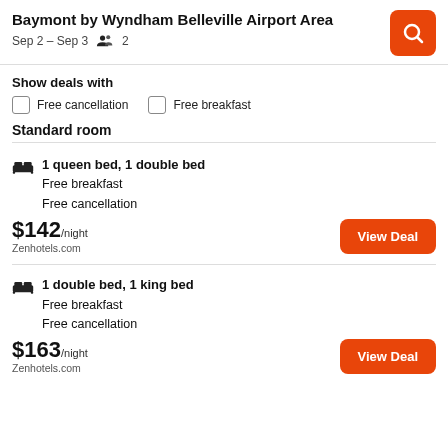Baymont by Wyndham Belleville Airport Area
Sep 2 – Sep 3    2
Show deals with
Free cancellation
Free breakfast
Standard room
1 queen bed, 1 double bed
Free breakfast
Free cancellation
$142/night
Zenhotels.com
1 double bed, 1 king bed
Free breakfast
Free cancellation
$163/night
Zenhotels.com